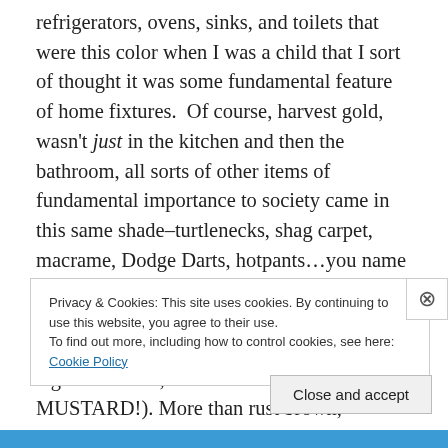refrigerators, ovens, sinks, and toilets that were this color when I was a child that I sort of thought it was some fundamental feature of home fixtures.  Of course, harvest gold, wasn't just in the kitchen and then the bathroom, all sorts of other items of fundamental importance to society came in this same shade–turtlenecks, shag carpet, macrame, Dodge Darts, hotpants…you name it (this is to say nothing of things which were, are, and always will be this deep yellow like dead corn fields, lions, broken urinals, used cigarette filters, and mustard, mustard, MUSTARD!). More than rust brown, tangerine orange, or even avocado,
Privacy & Cookies: This site uses cookies. By continuing to use this website, you agree to their use.
To find out more, including how to control cookies, see here: Cookie Policy